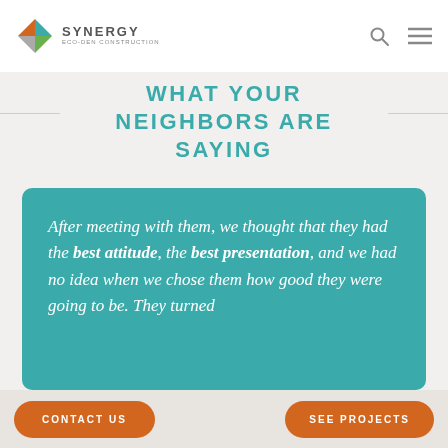SYNERGY
WHAT YOUR NEIGHBORS ARE SAYING
After meeting with them, we thought that they had the best attitude, the best presentation, and we had no idea when we chose them how good they were going to be. They turned
CONTACT US
SEE PROJECTS